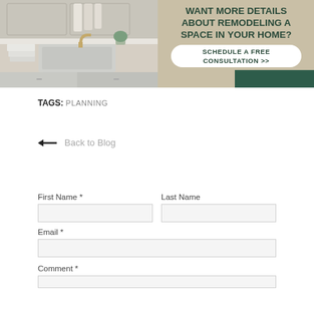[Figure (infographic): Banner showing a laundry room/kitchen with a gold faucet, white sink, cabinets, and towels on the left half. Right half has a tan/beige background with dark green text reading 'WANT MORE DETAILS ABOUT REMODELING A SPACE IN YOUR HOME?' and a white button 'SCHEDULE A FREE CONSULTATION >>' with a dark green bar at bottom right.]
TAGS: PLANNING
← Back to Blog
First Name *
Last Name
Email *
Comment *